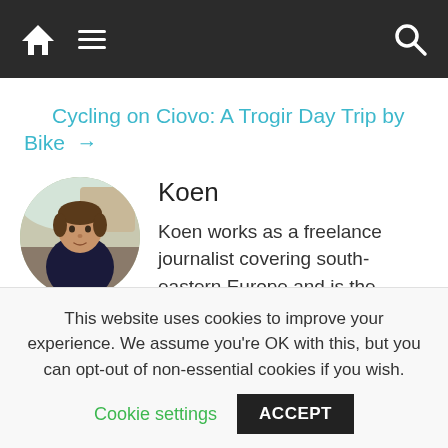Navigation bar with home, menu, and search icons
Cycling on Ciovo: A Trogir Day Trip by Bike →
[Figure (photo): Circular portrait photo of Koen, a man with medium-length brown hair wearing a dark jacket, photographed outdoors.]
Koen
Koen works as a freelance journalist covering south-eastern Europe and is the founding father and editor-in-chief of Paliparan. As a contributor to some major Fleet Street newspapers and some
This website uses cookies to improve your experience. We assume you're OK with this, but you can opt-out of non-essential cookies if you wish.
Cookie settings  ACCEPT